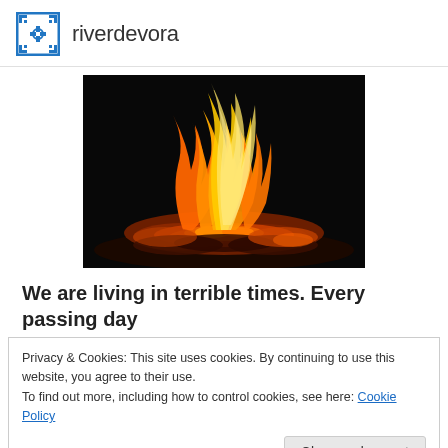riverdevora
[Figure (photo): A campfire or bonfire burning at night against a dark background, with orange and yellow flames and glowing embers on logs.]
We are living in terrible times. Every passing day
Privacy & Cookies: This site uses cookies. By continuing to use this website, you agree to their use.
To find out more, including how to control cookies, see here: Cookie Policy
occasional successes in) passing oppressive